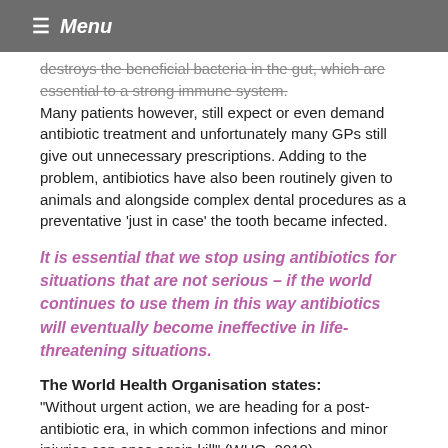≡ Menu
destroys the beneficial bacteria in the gut, which are essential to a strong immune system. Many patients however, still expect or even demand antibiotic treatment and unfortunately many GPs still give out unnecessary prescriptions. Adding to the problem, antibiotics have also been routinely given to animals and alongside complex dental procedures as a preventative 'just in case' the tooth became infected.
It is essential that we stop using antibiotics for situations that are not serious – if the world continues to use them in this way antibiotics will eventually become ineffective in life-threatening situations.
The World Health Organisation states: "Without urgent action, we are heading for a post-antibiotic era, in which common infections and minor injuries can once again kill" (WHO, 2018)